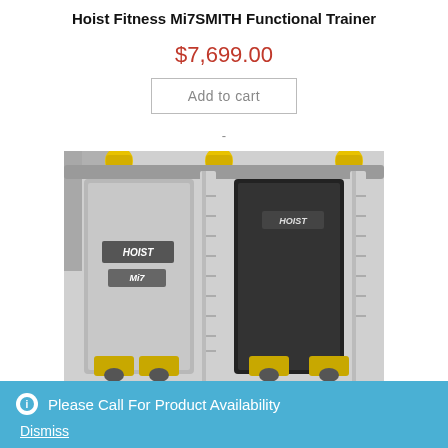Hoist Fitness Mi7SMITH Functional Trainer
$7,699.00
Add to cart
-
[Figure (photo): Close-up photo of a Hoist Fitness Mi7 Smith Functional Trainer machine showing gray and black vertical weight stacks with yellow accent pulleys and cable attachments, with HOIST and Mi7 branding visible.]
Please Call For Product Availability
Dismiss